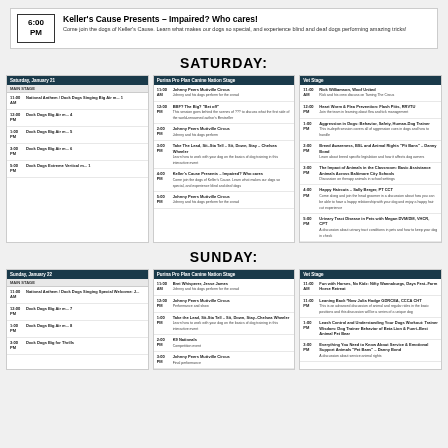6:00 PM | Keller's Cause Presents – Impaired? Who cares! Come join the dogs of Keller's Cause. Learn what makes our dogs so special, and experience blind and deaf dogs performing amazing tricks!
SATURDAY:
[Figure (other): Three schedule panels for Saturday showing event listings with times]
SUNDAY:
[Figure (other): Three schedule panels for Sunday showing event listings with times]